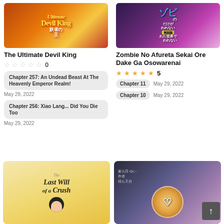[Figure (illustration): Cover art for 'The Ultimate Devil King' manga - fiery orange/red tones with stylized title text]
The Ultimate Devil King
★★★★★ 0
Chapter 257: An Undead Beast At The Heavenly Emperor Realm!
May 29, 2022
Chapter 256: Xiao Lang... Did You Die Too
May 29, 2022
[Figure (illustration): Cover art for 'Zombie No Afureta Sekai Ore Dake Ga Osowarenai' manga - purple/pink tones with Japanese text]
Zombie No Afureta Sekai Ore Dake Ga Osowarenai
★★★★★ 5
Chapter 11   May 29, 2022
Chapter 10   May 29, 2022
[Figure (illustration): Cover art for 'The Last Will of a Crush' manga - light yellow tones with cursive title text and character]
[Figure (illustration): Cover art for another manga - dark tones with anime character art]